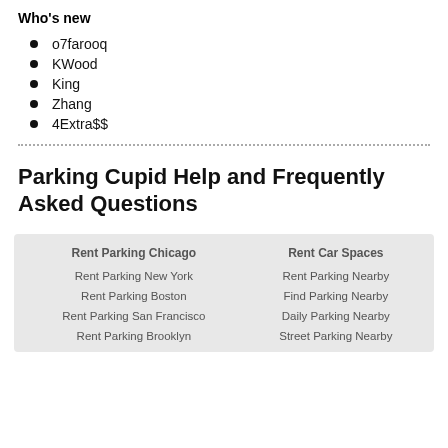Who's new
o7farooq
KWood
King
Zhang
4Extra$$
Parking Cupid Help and Frequently Asked Questions
| Rent Parking Chicago | Rent Car Spaces |
| --- | --- |
| Rent Parking New York | Rent Parking Nearby |
| Rent Parking Boston | Find Parking Nearby |
| Rent Parking San Francisco | Daily Parking Nearby |
| Rent Parking Brooklyn | Street Parking Nearby |